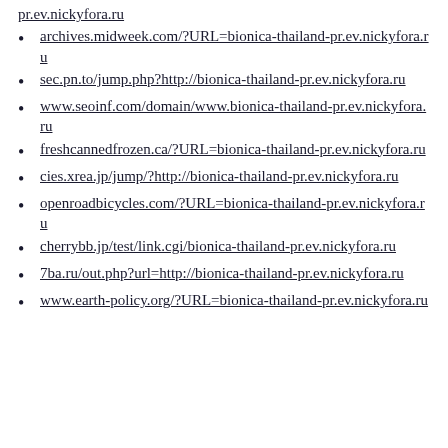pr.ev.nickyfora.ru
archives.midweek.com/?URL=bionica-thailand-pr.ev.nickyfora.ru
sec.pn.to/jump.php?http://bionica-thailand-pr.ev.nickyfora.ru
www.seoinf.com/domain/www.bionica-thailand-pr.ev.nickyfora.ru
freshcannedfrozen.ca/?URL=bionica-thailand-pr.ev.nickyfora.ru
cies.xrea.jp/jump/?http://bionica-thailand-pr.ev.nickyfora.ru
openroadbicycles.com/?URL=bionica-thailand-pr.ev.nickyfora.ru
cherrybb.jp/test/link.cgi/bionica-thailand-pr.ev.nickyfora.ru
7ba.ru/out.php?url=http://bionica-thailand-pr.ev.nickyfora.ru
www.earth-policy.org/?URL=bionica-thailand-pr.ev.nickyfora.ru